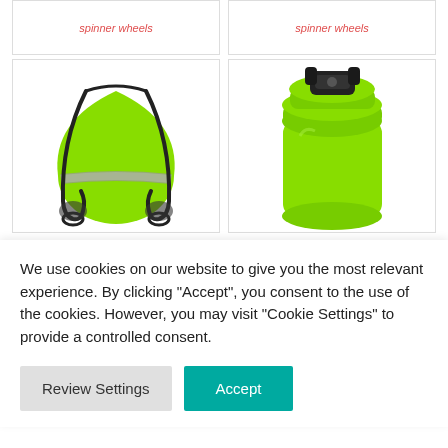spinner wheels
spinner wheels
[Figure (photo): Lime green drawstring backpack with reflective strip and black cords]
[Figure (photo): Lime green roll-top dry bag with black buckle closure]
We use cookies on our website to give you the most relevant experience. By clicking "Accept", you consent to the use of the cookies. However, you may visit "Cookie Settings" to provide a controlled consent.
Review Settings
Accept